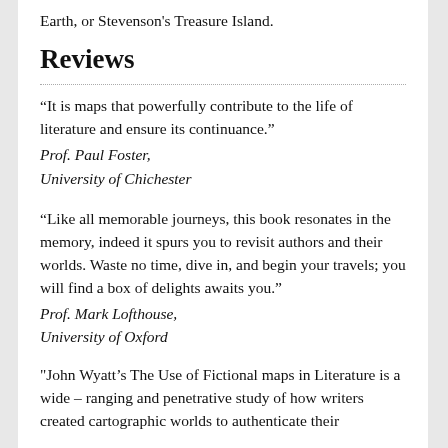Earth, or Stevenson's Treasure Island.
Reviews
“It is maps that powerfully contribute to the life of literature and ensure its continuance.” Prof. Paul Foster, University of Chichester
“Like all memorable journeys, this book resonates in the memory, indeed it spurs you to revisit authors and their worlds. Waste no time, dive in, and begin your travels; you will find a box of delights awaits you.” Prof. Mark Lofthouse, University of Oxford
"John Wyatt’s The Use of Fictional maps in Literature is a wide – ranging and penetrative study of how writers created cartographic worlds to authenticate their